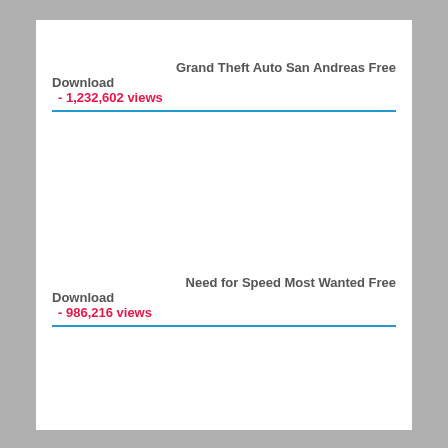Grand Theft Auto San Andreas Free Download
- 1,232,602 views
Need for Speed Most Wanted Free Download
- 986,216 views